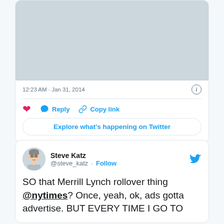[Figure (screenshot): Gray media placeholder area at top of tweet card]
12:23 AM · Jan 31, 2014
Reply  Copy link
Explore what's happening on Twitter
[Figure (screenshot): Avatar illustration of Steve Katz for tweet]
Steve Katz @steve_katz · Follow
SO that Merrill Lynch rollover thing @nytimes? Once, yeah, ok, ads gotta advertise. BUT EVERY TIME I GO TO